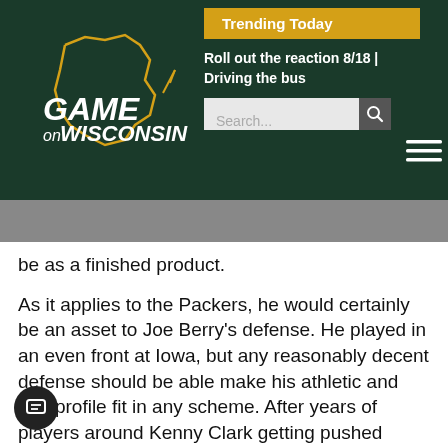[Figure (logo): Game on Wisconsin logo — white and gold text with Wisconsin state outline in gold on dark green background]
Trending Today
Roll out the reaction 8/18 | Driving the bus
be as a finished product.
As it applies to the Packers, he would certainly be an asset to Joe Berry's defense. He played in an even front at Iowa, but any reasonably decent defense should be able make his athletic and skill profile fit in any scheme. After years of players around Kenny Clark getting pushed around, Aviyon Nixon is the type of athlete who could factor into a genuine 1-2 punch on the Green Bay defensive line.